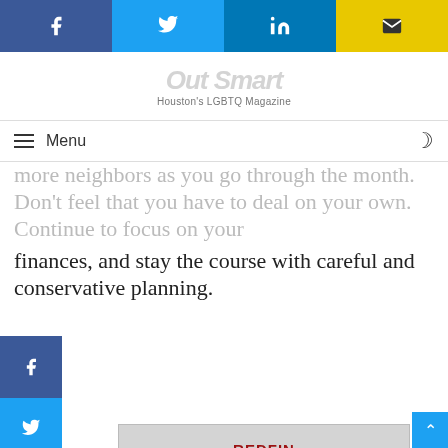[Figure (infographic): Top social sharing bar with Facebook, Twitter, LinkedIn, and email icons]
Out Smart | Houston's LGBTQ Magazine
Menu
finances, and stay the course with careful and conservative planning.
[Figure (infographic): Side social bar with Facebook, Twitter, LinkedIn icons]
[Figure (advertisement): Redfin Premier advertisement - Exclusive Service for Exceptional Homes. Your Home Deserves The Best. www.Redfin.com/Premier]